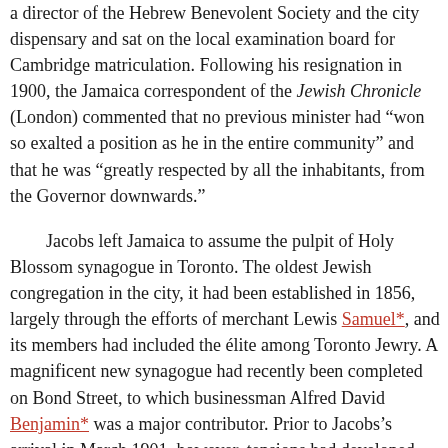a director of the Hebrew Benevolent Society and the city dispensary and sat on the local examination board for Cambridge matriculation. Following his resignation in 1900, the Jamaica correspondent of the Jewish Chronicle (London) commented that no previous minister had “won so exalted a position as he in the entire community” and that he was “greatly respected by all the inhabitants, from the Governor downwards.”
Jacobs left Jamaica to assume the pulpit of Holy Blossom synagogue in Toronto. The oldest Jewish congregation in the city, it had been established in 1856, largely through the efforts of merchant Lewis Samuel*, and its members had included the élite among Toronto Jewry. A magnificent new synagogue had recently been completed on Bond Street, to which businessman Alfred David Benjamin* was a major contributor. Prior to Jacobs’s arrival in March 1901, however, tensions had developed between orthodox and liberal elements within the congregation over such issues as instrumental music, the use of English at services, and